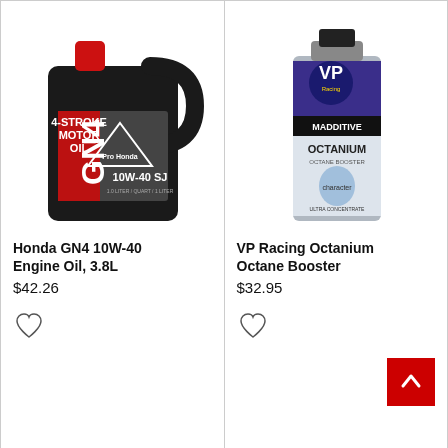[Figure (photo): Honda GN4 10W-40 Engine Oil, 3.8L in a black gallon jug with red cap]
Honda GN4 10W-40 Engine Oil, 3.8L
$42.26
[Figure (illustration): Heart/wishlist icon]
[Figure (photo): VP Racing Octanium Octane Booster in a silver/purple can]
VP Racing Octanium Octane Booster
$32.95
[Figure (illustration): Heart/wishlist icon]
[Figure (illustration): Back to top button, red square with white chevron arrow]